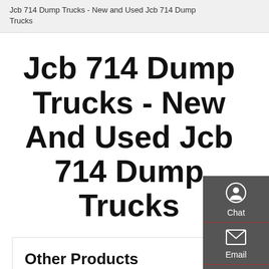Jcb 714 Dump Trucks - New and Used Jcb 714 Dump Trucks
Jcb 714 Dump Trucks - New And Used Jcb 714 Dump Trucks
Other Products
6x4-Dump-Truck
8x4-Dump-Truck